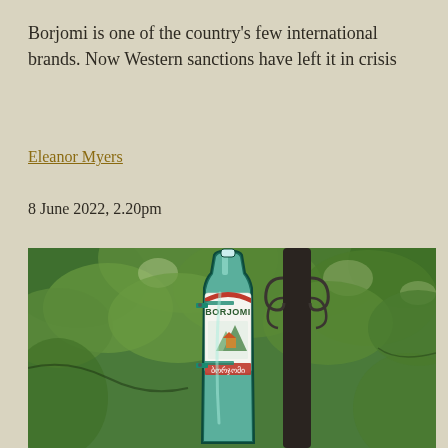Borjomi is one of the country's few international brands. Now Western sanctions have left it in crisis
Eleanor Myers
8 June 2022, 2.20pm
[Figure (photo): A large decorative Borjomi mineral water bottle sign mounted on an ornate lamp post, with green trees in the background. The bottle displays the Borjomi brand label with Georgian script.]